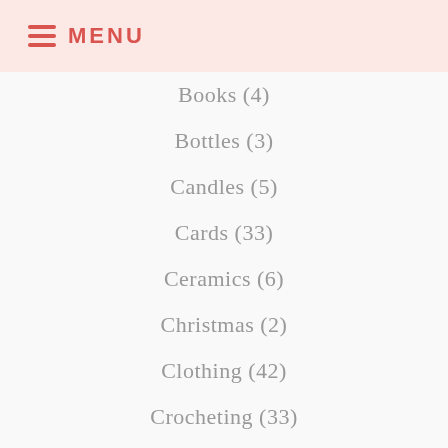MENU
Books (4)
Bottles (3)
Candles (5)
Cards (33)
Ceramics (6)
Christmas (2)
Clothing (42)
Crocheting (33)
Felt (16)
Flowers (7)
Furniture (1)
Glass (10)
Halloween (1)